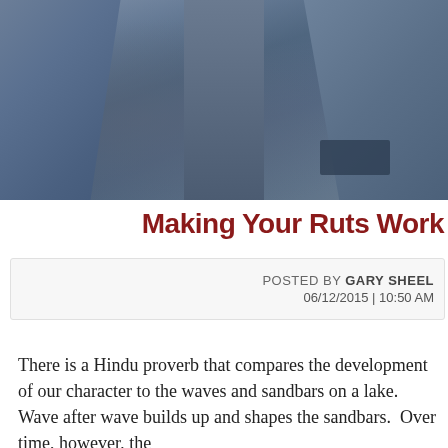[Figure (photo): Close-up photo of a person wearing a blue/grey tweed or wool blazer with lapels visible, dark shirt underneath, partial pocket visible on right side.]
Making Your Ruts Work
POSTED BY GARY SHEEL 06/12/2015 | 10:50 AM
There is a Hindu proverb that compares the development of our character to the waves and sandbars on a lake. Wave after wave builds up and shapes the sandbars.  Over time, however, the